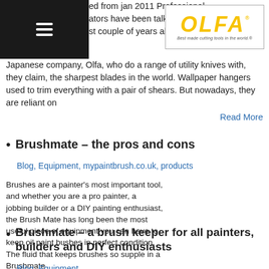ed from jan 2011 Professional ators have been talking a lot over st couple of years about the Japanese company, Olfa, who do a range of utility knives with, they claim, the sharpest blades in the world. Wallpaper hangers used to trim everything with a pair of shears. But nowadays, they are reliant on
[Figure (logo): OLFA logo - yellow italic text on white background with tagline 'Best made cutting tools in the world.']
Read More
Brushmate – the pros and cons
Blog, Equipment, mypaintbrush.co.uk, products
Brushes are a painter's most important tool, and whether you are a pro painter, a jobbing builder or a DIY painting enthusiast, the Brush Mate has long been the most useful piece of equipment you can have to keep oil paint bushes in perfect condition. The fluid that keeps brushes so supple in a Brushmate
[Figure (photo): Brushmate product – TRADE 4+ brush keeper with paint brushes and red accessory]
Read More
Brushmate – a brush keeper for all painters, builders and DIY enthusiasts
Blog, Equipment, ...